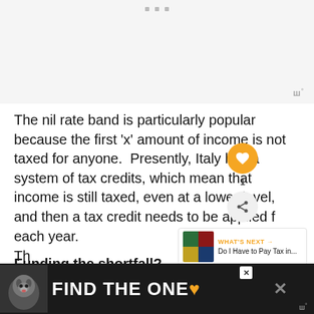[Figure (screenshot): Gray top area with three small gray square dots centered near top, and a watermark-style logo in bottom-right corner reading 'w' with superscript degree symbol]
The nil rate band is particularly popular because the first 'x' amount of income is not taxed for anyone.  Presently, Italy has a system of tax credits, which mean that income is still taxed, even at a lower level, and then a tax credit needs to be applied for each year.
Funding the shortfall?
[Figure (screenshot): Dark advertisement banner at the bottom reading FIND THE ONE with a dog image on the left, a close X button, and watermark logos]